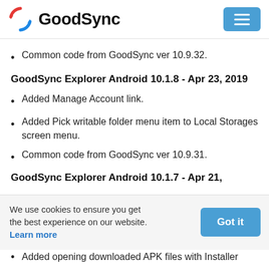GoodSync
Common code from GoodSync ver 10.9.32.
GoodSync Explorer Android 10.1.8 - Apr 23, 2019
Added Manage Account link.
Added Pick writable folder menu item to Local Storages screen menu.
Common code from GoodSync ver 10.9.31.
We use cookies to ensure you get the best experience on our website. Learn more
Added opening downloaded APK files with Installer